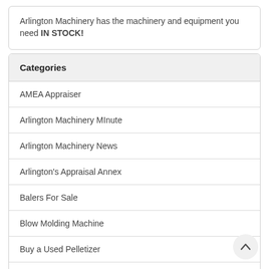Arlington Machinery has the machinery and equipment you need IN STOCK!
Categories
AMEA Appraiser
Arlington Machinery MInute
Arlington Machinery News
Arlington's Appraisal Annex
Balers For Sale
Blow Molding Machine
Buy a Used Pelletizer
Cincinnati Milacron